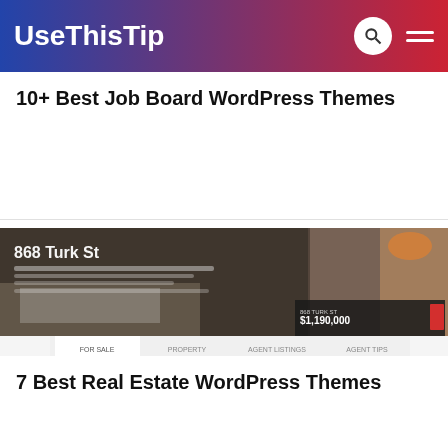UseThisTip
10+ Best Job Board WordPress Themes
[Figure (screenshot): Screenshot of a real estate WordPress theme showing a property listing page with hero image of '868 Turk St', property search filters (Bedrooms, Bathrooms, Min/Max Price, Search Property button), and featured listings grid with 4 property images.]
7 Best Real Estate WordPress Themes